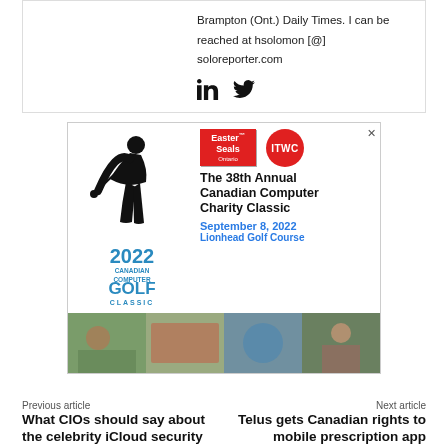Brampton (Ont.) Daily Times. I can be reached at hsolomon [@] soloreporter.com
[Figure (other): LinkedIn and Twitter social media icons]
[Figure (other): Advertisement banner for the 38th Annual Canadian Computer Charity Classic golf tournament, September 8, 2022, Lionhead Golf Course. Features Easter Seals and ITWC logos, golfer silhouette, 2022 Canadian Computer Golf Classic branding, and four event photos.]
Previous article
Next article
What CIOs should say about the celebrity iCloud security
Telus gets Canadian rights to mobile prescription app